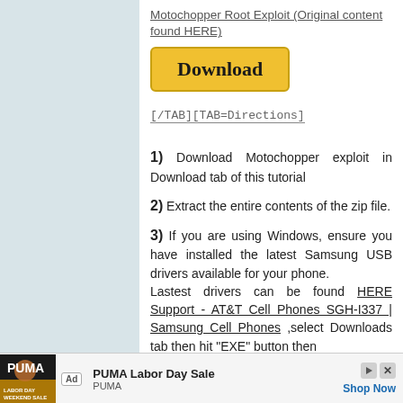Motochopper Root Exploit (Original content found HERE)
[Figure (other): Yellow Download button with bold serif text]
[/TAB][TAB=Directions]
1) Download Motochopper exploit in Download tab of this tutorial
2) Extract the entire contents of the zip file.
3) If you are using Windows, ensure you have installed the latest Samsung USB drivers available for your phone. Lastest drivers can be found HERE Support - AT&T Cell Phones SGH-I337 | Samsung Cell Phones ,select Downloads tab then hit "EXE" button then
[Figure (other): Advertisement banner: PUMA Labor Day Sale ad with photo of athlete and Shop Now link]